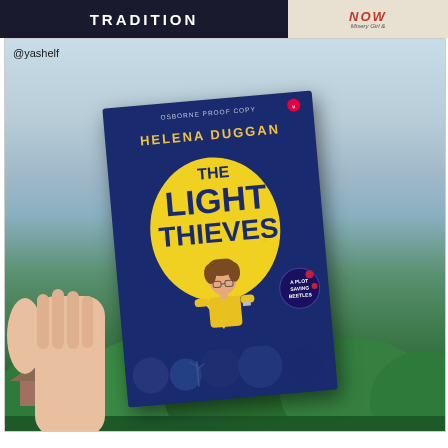[Figure (photo): Social media post showing a hand holding up a copy of 'The Light Thieves' by Helena Duggan (Usborne proof copy) against an outdoor background of blue sky and green trees. The top of the image shows partial book covers including one with 'TRADITION' text. The handle text '@yashelf' appears in the upper left of the photo. The book cover is dark navy blue with a yellow balloon shape containing the title 'THE LIGHT THIEVES' in dark text, and the author name 'HELENA DUGGAN' in gold/yellow. A illustrated character of a boy in a yellow shirt is visible on the cover.]